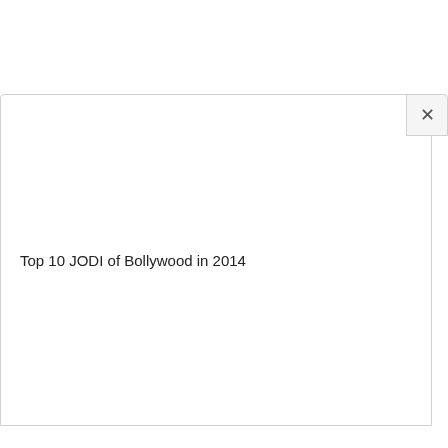[Figure (screenshot): A dialog or modal box overlay on a white background with a close button (×) in the top-right corner.]
Top 10 JODI of Bollywood in 2014